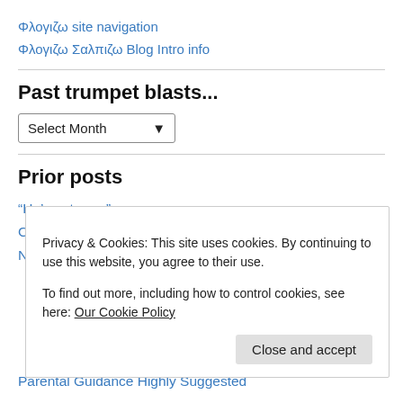Φλογιζω site navigation
Φλογιζω Σαλπιζω Blog Intro info
Past trumpet blasts...
[Figure (other): Dropdown select box labeled 'Select Month']
Prior posts
“He’s got ya…”
Checkin’ out some rockin’ waves
Privacy & Cookies: This site uses cookies. By continuing to use this website, you agree to their use.
To find out more, including how to control cookies, see here: Our Cookie Policy
Parental Guidance Highly Suggested